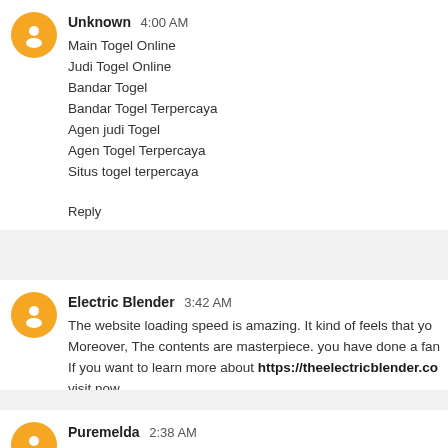Unknown  4:00 AM
Main Togel Online
Judi Togel Online
Bandar Togel
Bandar Togel Terpercaya
Agen judi Togel
Agen Togel Terpercaya
Situs togel terpercaya
Reply
Electric Blender  3:42 AM
The website loading speed is amazing. It kind of feels that yo Moreover, The contents are masterpiece. you have done a fan If you want to learn more about https://theelectricblender.co visit now
Reply
Puremelda  2:38 AM